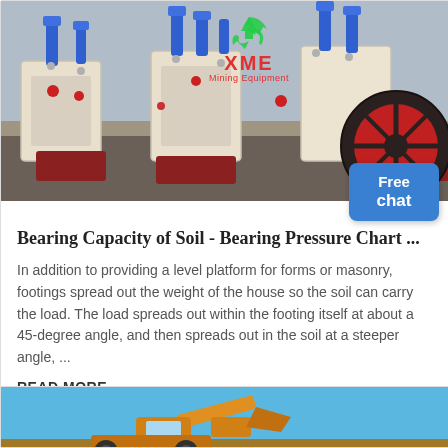[Figure (photo): Industrial mining/crushing machines with blue hydraulic components and red wheel, XME Mining Equipment branding overlay]
Bearing Capacity of Soil - Bearing Pressure Chart ...
In addition to providing a level platform for forms or masonry, footings spread out the weight of the house so the soil can carry the load. The load spreads out within the footing itself at about a 45-degree angle, and then spreads out in the soil at a steeper angle, ...
READ MORE
[Figure (photo): Construction equipment (loader/excavator) against a blue sky background]